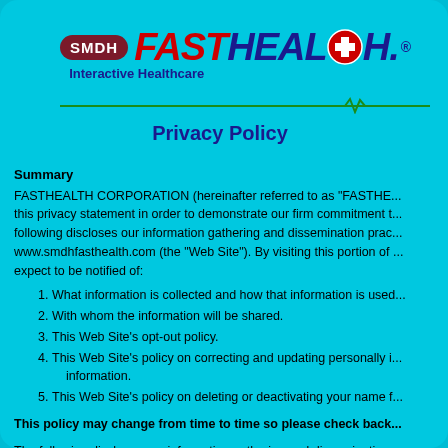[Figure (logo): SMDH FAST HEALTH Interactive Healthcare logo with red FAST text, dark blue HEALTH text with cross symbol, SMDH badge, green EKG line, and Interactive Healthcare subtitle]
Privacy Policy
Summary
FASTHEALTH CORPORATION (hereinafter referred to as "FASTHE... this privacy statement in order to demonstrate our firm commitment t... following discloses our information gathering and dissemination prac... www.smdhfasthealth.com (the "Web Site"). By visiting this portion of ... expect to be notified of:
What information is collected and how that information is used...
With whom the information will be shared.
This Web Site's opt-out policy.
This Web Site's policy on correcting and updating personally i... information.
This Web Site's policy on deleting or deactivating your name f...
This policy may change from time to time so please check back...
The following discloses our information gathering and dissemination ... Web site: